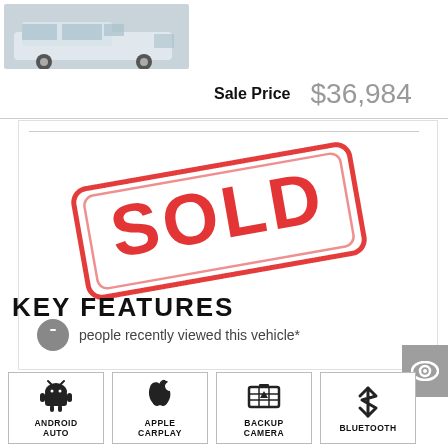[Figure (photo): White Jeep Grand Cherokee vehicle photo]
Sale Price  $36,984
[Figure (other): SOLD stamp overlaid on vehicle listing area]
people recently viewed this vehicle*
KEY FEATURES
[Figure (infographic): Android Auto icon]
ANDROID AUTO
[Figure (infographic): Apple CarPlay icon]
APPLE CARPLAY
[Figure (infographic): Backup Camera icon]
BACKUP CAMERA
[Figure (infographic): Bluetooth icon]
BLUETOOTH